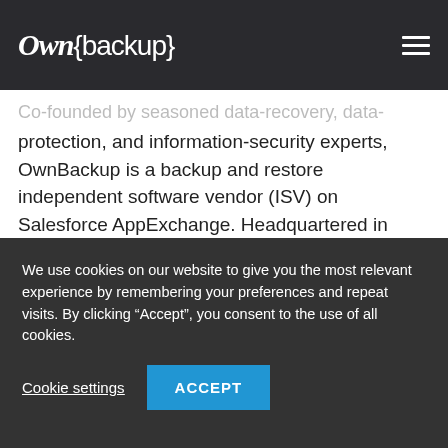caused by human error, malicious intent, integration
[Figure (logo): OwnBackup logo with italic 'Own' and curly brace 'backup' text in white on dark background]
Co-founded by seasoned data-recovery, data-protection, and information-security experts, OwnBackup is a backup and restore independent software vendor (ISV) on Salesforce AppExchange. Headquartered in Englewood Cliffs, New Jersey with Research and Development (R&D), support, and other functions in Israel, EMEA and APAC. OwnBackup is the
We use cookies on our website to give you the most relevant experience by remembering your preferences and repeat visits. By clicking “Accept”, you consent to the use of all cookies.
Cookie settings
ACCEPT